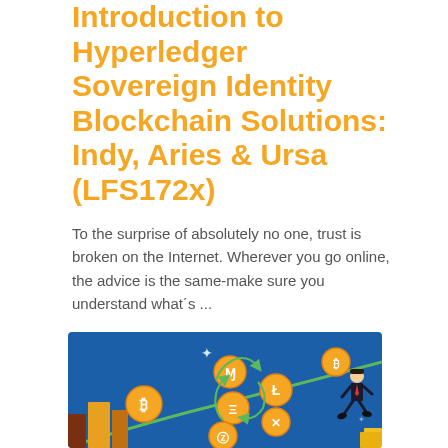Introduction to Hyperledger Sovereign Identity Blockchain Solutions: Indy, Aries & Ursa (LFS172x)
To the surprise of absolutely no one, trust is broken on the Internet. Wherever you go online, the advice is the same-make sure you understand what's ...
[Figure (illustration): Blockchain/cryptocurrency illustration showing a dark blue background with a businessperson running along an upward curved green arrow, surrounded by floating cryptocurrency coin icons (Bitcoin, Monero, Litecoin, Ethereum, Ripple, Zcash) with green circular arrows indicating exchange/transactions, and building silhouettes at the bottom left.]